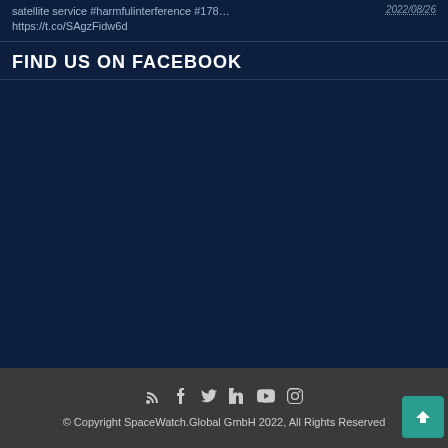satellite service #harmfulinterference #178... https://t.co/SAgzFidw6d  2022/08/26
FIND US ON FACEBOOK
[Figure (other): Facebook embedded widget area (empty/dark background)]
© Copyright SpaceWatch.Global GmbH 2022, All Rights Reserved